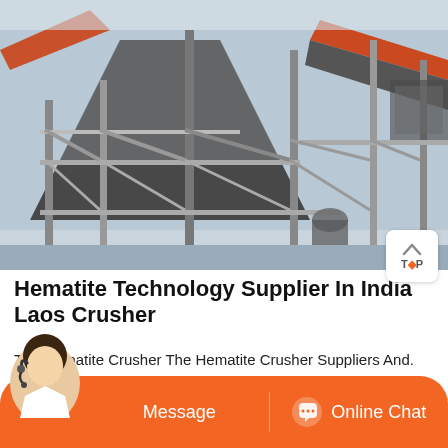[Figure (photo): Industrial mining/crushing plant equipment — conveyor belts, metal scaffolding, hopper structures, industrial machinery photographed outdoors.]
Hematite Technology Supplier In India Laos Crusher
The Hematite Crusher The Hematite Crusher Suppliers And. Hematite ore mobile crusher thebushlodgecoa hematite ore mobile crusher manufacturer iron ore is the most important mineral ores in the world especially in australia brail india sbm is an important iron ore crusher and iron ore crushing plant manufacturer we can design the plete set of ...
[Figure (other): Bottom navigation bar with orange background showing Message button and Online Chat button with headset icon, plus a customer service representative avatar photo.]